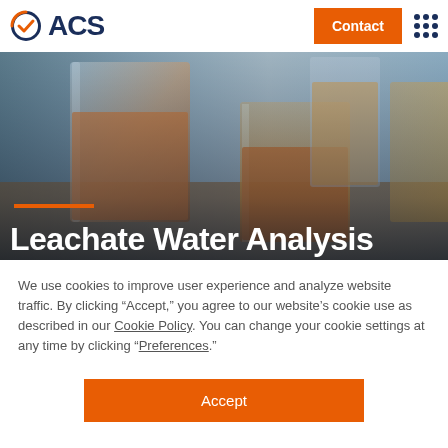ACS | Contact
[Figure (photo): Laboratory glassware filled with orange/amber liquid, blurred background, hero image for Leachate Water Analysis page]
Leachate Water Analysis
We use cookies to improve user experience and analyze website traffic. By clicking “Accept,” you agree to our website’s cookie use as described in our Cookie Policy. You can change your cookie settings at any time by clicking “Preferences.”
Accept